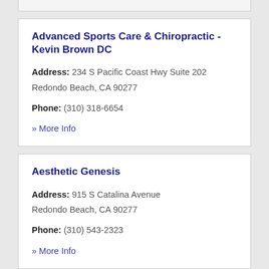Advanced Sports Care & Chiropractic - Kevin Brown DC
Address: 234 S Pacific Coast Hwy Suite 202 Redondo Beach, CA 90277
Phone: (310) 318-6654
» More Info
Aesthetic Genesis
Address: 915 S Catalina Avenue Redondo Beach, CA 90277
Phone: (310) 543-2323
» More Info